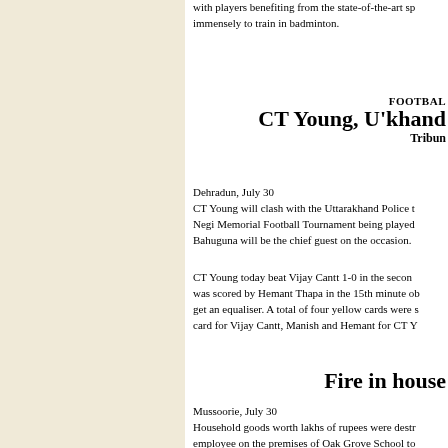with players benefiting from the state-of-the-art sp... immensely to train in badminton.
FOOTBALL
CT Young, U'khand
Tribune
Dehradun, July 30
CT Young will clash with the Uttarakhand Police t... Negi Memorial Football Tournament being played... Bahuguna will be the chief guest on the occasion.
CT Young today beat Vijay Cantt 1-0 in the secon... was scored by Hemant Thapa in the 15th minute o... get an equaliser. A total of four yellow cards were s... card for Vijay Cantt, Manish and Hemant for CT Y...
Fire in house
Mussoorie, July 30
Household goods worth lakhs of rupees were destr... employee on the premises of Oak Grove School to...